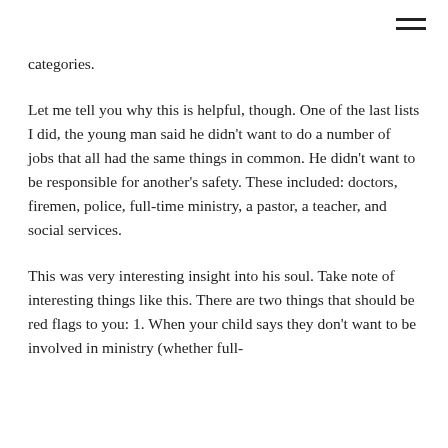≡
categories.
Let me tell you why this is helpful, though. One of the last lists I did, the young man said he didn't want to do a number of jobs that all had the same things in common. He didn't want to be responsible for another's safety. These included: doctors, firemen, police, full-time ministry, a pastor, a teacher, and social services.
This was very interesting insight into his soul. Take note of interesting things like this. There are two things that should be red flags to you: 1. When your child says they don't want to be involved in ministry (whether full-